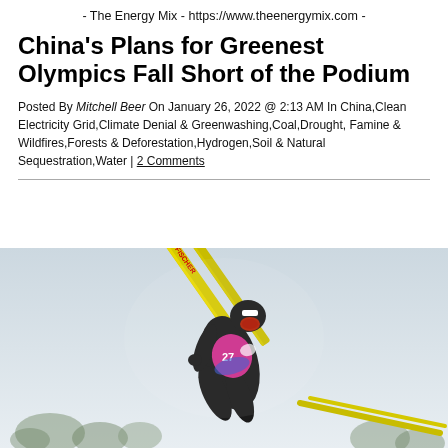- The Energy Mix - https://www.theenergymix.com -
China's Plans for Greenest Olympics Fall Short of the Podium
Posted By Mitchell Beer On January 26, 2022 @ 2:13 AM In China,Clean Electricity Grid,Climate Denial & Greenwashing,Coal,Drought, Famine & Wildfires,Forests & Deforestation,Hydrogen,Soil & Natural Sequestration,Water | 2 Comments
[Figure (photo): A ski jumper in mid-air wearing a black suit with a pink/magenta bib numbered 27 and Fischer skis, photographed against a light sky with blurred trees in the background.]